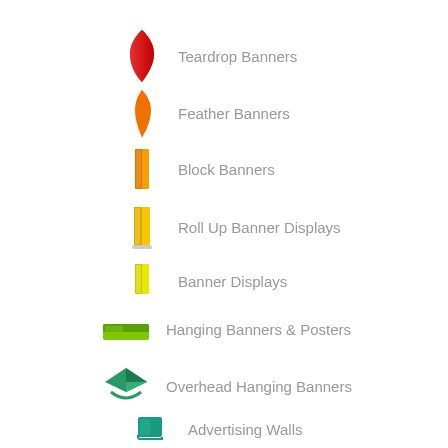Teardrop Banners
Feather Banners
Block Banners
Roll Up Banner Displays
Banner Displays
Hanging Banners & Posters
Overhead Hanging Banners
Advertising Walls